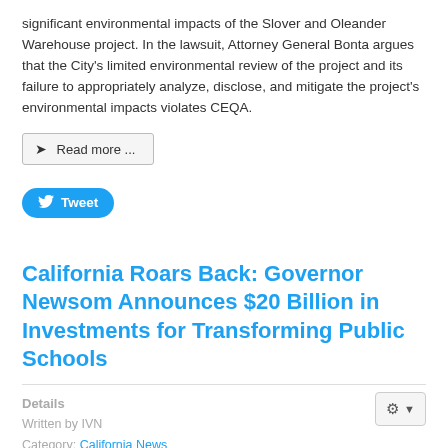significant environmental impacts of the Slover and Oleander Warehouse project. In the lawsuit, Attorney General Bonta argues that the City's limited environmental review of the project and its failure to appropriately analyze, disclose, and mitigate the project's environmental impacts violates CEQA.
Read more ...
Tweet
California Roars Back: Governor Newsom Announces $20 Billion in Investments for Transforming Public Schools
Details
Written by IVN
Category: California News
Published: 12 May 2021
Castroville, California - Today, Governor Gavin Newsom